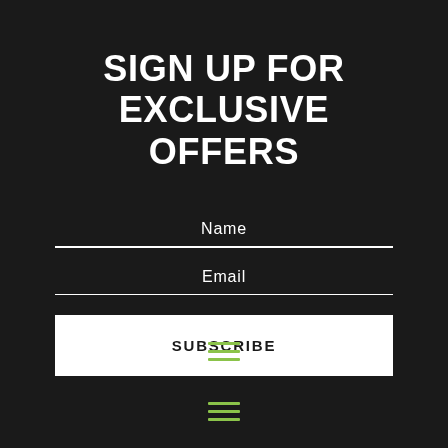SIGN UP FOR EXCLUSIVE OFFERS
Name
Email
SUBSCRIBE
[Figure (illustration): Green hamburger menu icon (three horizontal lines)]
[Figure (illustration): Green hamburger menu icon (three horizontal lines), second instance]